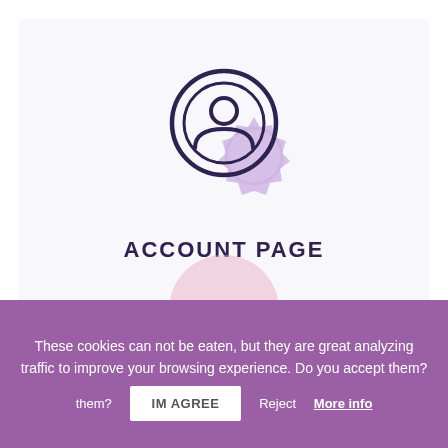[Figure (illustration): User account icon: a dark navy circle outline with a person silhouette (head circle and shoulders arc), overlaid with a purple/lavender badge/seal shape in the lower right]
ACCOUNT PAGE
These cookies can not be eaten, but they are great analyzing traffic to improve your browsing experience. Do you accept them?
IM AGREE   Reject   More info